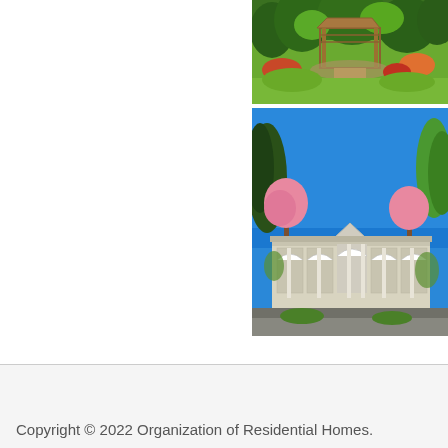[Figure (photo): Outdoor garden scene with a wooden gazebo/pergola structure surrounded by lush green trees and colorful plantings, pathway visible]
[Figure (photo): Exterior photo of a large single-story white building with arched windows and columns, surrounded by pink flowering trees and green foliage under a bright blue sky]
Copyright © 2022 Organization of Residential Homes.